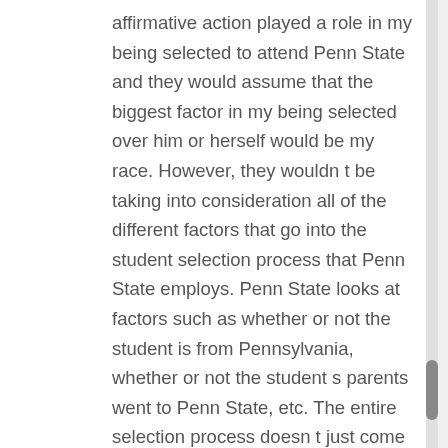affirmative action played a role in my being selected to attend Penn State and they would assume that the biggest factor in my being selected over him or herself would be my race. However, they wouldn t be taking into consideration all of the different factors that go into the student selection process that Penn State employs. Penn State looks at factors such as whether or not the student is from Pennsylvania, whether or not the student s parents went to Penn State, etc. The entire selection process doesn t just come down to race, even in cases where affirmative action is used. Having taken this course, my views on affirmative action are that it is needed in schools, the workforce, and wherever else, but not necessarily by looking at just one factor such as race. I think the prevailing factor behind affirmative action should be socioeconomic status. What resources does this person have to get ahead? In the case of a high school